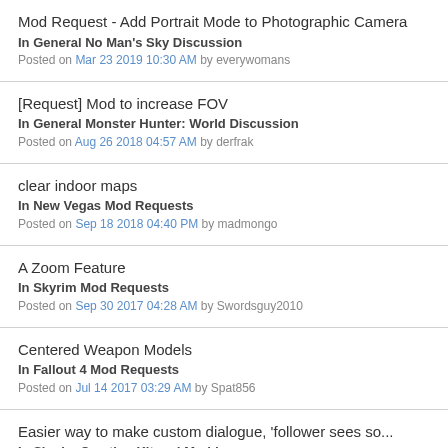Mod Request - Add Portrait Mode to Photographic Camera
In General No Man's Sky Discussion
Posted on Mar 23 2019 10:30 AM by everywomans
[Request] Mod to increase FOV
In General Monster Hunter: World Discussion
Posted on Aug 26 2018 04:57 AM by derfrak
clear indoor maps
In New Vegas Mod Requests
Posted on Sep 18 2018 04:40 PM by madmongo
A Zoom Feature
In Skyrim Mod Requests
Posted on Sep 30 2017 04:28 AM by Swordsguy2010
Centered Weapon Models
In Fallout 4 Mod Requests
Posted on Jul 14 2017 03:29 AM by Spat856
Easier way to make custom dialogue, 'follower sees so...
In Skyrim Creation Kit and Modders
Posted on Apr 27 2017 11:32 PM by RopeSander